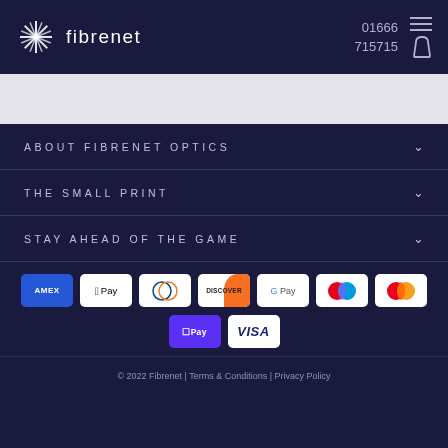Fibrenet | 01666 715715
[Figure (logo): Fibrenet logo — white starburst/sunburst icon with 'fibrenet' text to the right, on dark navy background]
ABOUT FIBRENET OPTICS
THE SMALL PRINT
STAY AHEAD OF THE GAME
[Figure (infographic): Payment method icons: Amex, Apple Pay, Diners Club, Discover, Google Pay, Mastercard circles, Mastercard orange, Shop Pay, Visa]
© 2022 Fibrenet | Terms & Conditions | Privacy Policy